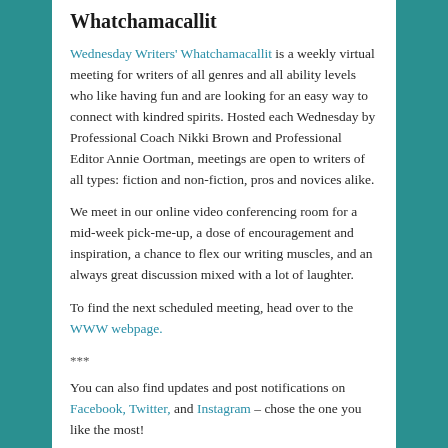Whatchamacallit
Wednesday Writers' Whatchamacallit is a weekly virtual meeting for writers of all genres and all ability levels who like having fun and are looking for an easy way to connect with kindred spirits. Hosted each Wednesday by Professional Coach Nikki Brown and Professional Editor Annie Oortman, meetings are open to writers of all types: fiction and non-fiction, pros and novices alike.
We meet in our online video conferencing room for a mid-week pick-me-up, a dose of encouragement and inspiration, a chance to flex our writing muscles, and an always great discussion mixed with a lot of laughter.
To find the next scheduled meeting, head over to the WWW webpage.
***
You can also find updates and post notifications on Facebook, Twitter, and Instagram – chose the one you like the most!